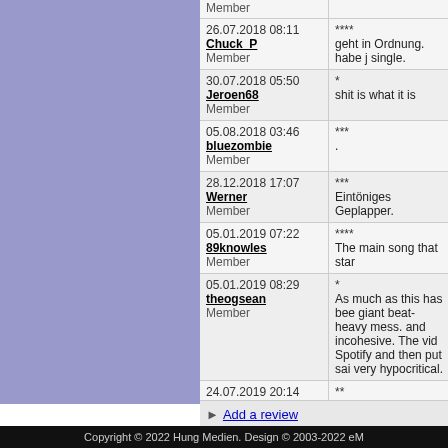| User / Date | Rating / Review |
| --- | --- |
| 26.07.2018 08:11
Chuck_P
Member | ****
geht in Ordnung. habe j single. |
| 30.07.2018 05:50
Jeroen68
Member | *
shit is what it is |
| 05.08.2018 03:46
bluezombie
Member | ***
. |
| 28.12.2018 17:07
Werner
Member | ***
Eintöniges Geplapper. |
| 05.01.2019 07:22
89knowles
Member | ****
The main song that star |
| 05.01.2019 08:29
theogsean
Member | *
As much as this has bee giant beat-heavy mess. and incohesive. The vid Spotify and then put sai very hypocritical. |
| 24.07.2019 20:14
Rewer
hitparade.ch | **
...weniger... |
| 14.03.2022 18:22
sanremo
Member | **
2- |
Add a review
Copyright © 2022 Hung Medien. Design © 2003-2022 eM